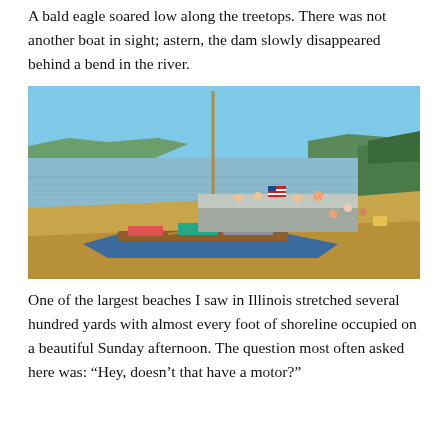A bald eagle soared low along the treetops. There was not another boat in sight; astern, the dam slowly disappeared behind a bend in the river.
[Figure (photo): A wooden sailboat with a tall mast pulled up on a sandy riverbank beach. Behind it, a larger pontoon boat is moored at the water's edge with several people around it. Green tree-covered bluffs are visible across the wide river under a clear blue sky.]
One of the largest beaches I saw in Illinois stretched several hundred yards with almost every foot of shoreline occupied on a beautiful Sunday afternoon. The question most often asked here was: “Hey, doesn’t that have a motor?”